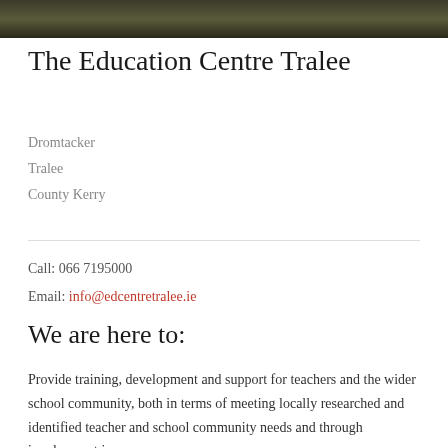[Figure (photo): Outdoor photo strip showing trees/foliage, dark toned]
The Education Centre Tralee
Dromtacker
Tralee
County Kerry
Call: 066 7195000
Email: info@edcentretralee.ie
We are here to:
Provide training, development and support for teachers and the wider school community, both in terms of meeting locally researched and identified teacher and school community needs and through involvement in